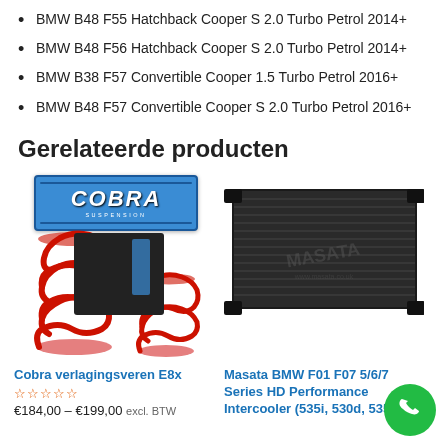BMW B48 F55 Hatchback Cooper S 2.0 Turbo Petrol 2014+
BMW B48 F56 Hatchback Cooper S 2.0 Turbo Petrol 2014+
BMW B38 F57 Convertible Cooper 1.5 Turbo Petrol 2016+
BMW B48 F57 Convertible Cooper S 2.0 Turbo Petrol 2016+
Gerelateerde producten
[Figure (photo): Cobra verlagingsveren (lowering springs) product photo with Cobra brand logo and red coil springs]
Cobra verlagingsveren E8x
€184,00 – €199,00 excl. BTW
[Figure (photo): Masata BMW F01 F07 5/6/7 Series HD Performance Intercooler (535i, 530d, 535d &...) product photo showing black intercooler unit]
Masata BMW F01 F07 5/6/7 Series HD Performance Intercooler (535i, 530d, 535d &